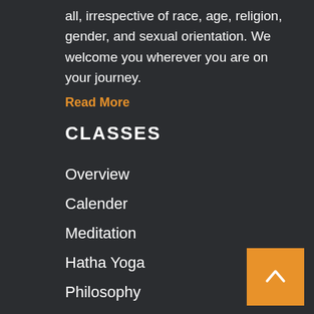all, irrespective of race, age, religion, gender, and sexual orientation. We welcome you wherever you are on your journey.
Read More
CLASSES
Overview
Calender
Meditation
Hatha Yoga
Philosophy
Satsang
Workshop and Events